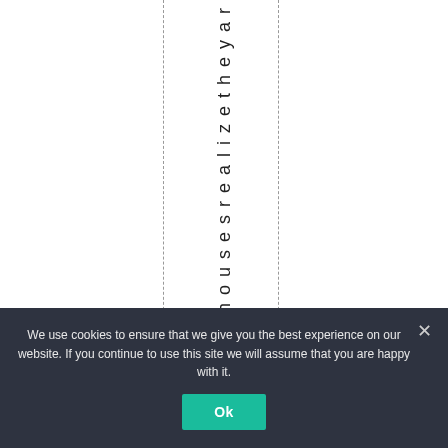housesrealizetheyar
We use cookies to ensure that we give you the best experience on our website. If you continue to use this site we will assume that you are happy with it.